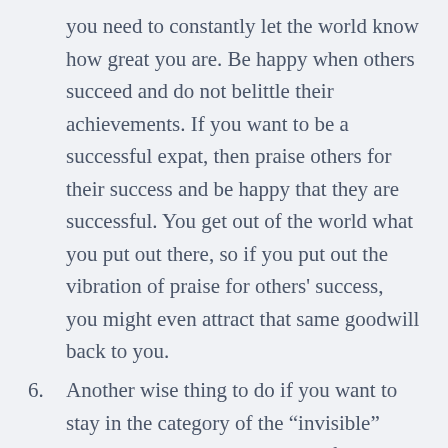you need to constantly let the world know how great you are. Be happy when others succeed and do not belittle their achievements. If you want to be a successful expat, then praise others for their success and be happy that they are successful. You get out of the world what you put out there, so if you put out the vibration of praise for others' success, you might even attract that same goodwill back to you.
6. Another wise thing to do if you want to stay in the category of the “invisible” rich, is to not live beyond your financial means. For instance, do not spend more money than you earn, or attempt to compete with others and senselessly accumulate things. Make sure that your expenses do not exceed your income. It